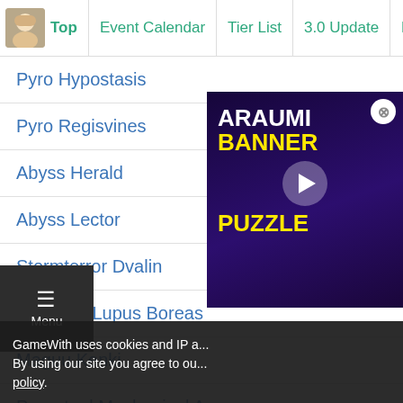Top | Event Calendar | Tier List | 3.0 Update | Electroc
Pyro Hypostasis
Pyro Regisvines
Abyss Herald
Abyss Lector
Stormterror Dvalin
Andrius / Lupus Boreas
Maguu Kenki
Perpetual Mechanical Array
The Witch of the ...
[Figure (screenshot): ARAUMI BANNER PUZZLE video advertisement overlay with play button, dark purple background with anime character]
GameWith uses cookies and IP a... By using our site you agree to ou... policy.